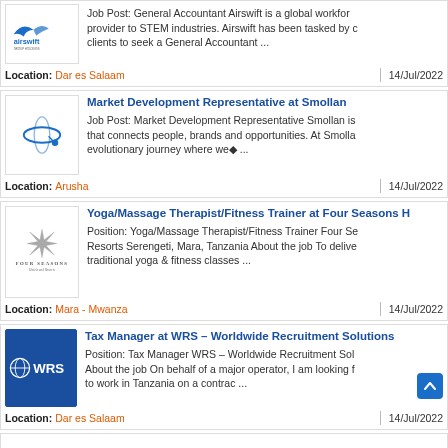Job Post: General Accountant Airswift is a global workforce provider to STEM industries. Airswift has been tasked by clients to seek a General Accountant ... Location: Dar es Salaam 14/Jul/2022
Market Development Representative at Smollan Job Post: Market Development Representative Smollan is that connects people, brands and opportunities. At Smolla evolutionary journey where we◆ ... Location: Arusha 14/Jul/2022
Yoga/Massage Therapist/Fitness Trainer at Four Seasons H Position: Yoga/Massage Therapist/Fitness Trainer Four Se Resorts Serengeti, Mara, Tanzania About the job To delive traditional yoga & fitness classes ... Location: Mara - Mwanza 14/Jul/2022
Tax Manager at WRS – Worldwide Recruitment Solutions Position: Tax Manager WRS – Worldwide Recruitment Sol About the job On behalf of a major operator, I am looking to work in Tanzania on a contrac ... Location: Dar es Salaam 14/Jul/2022